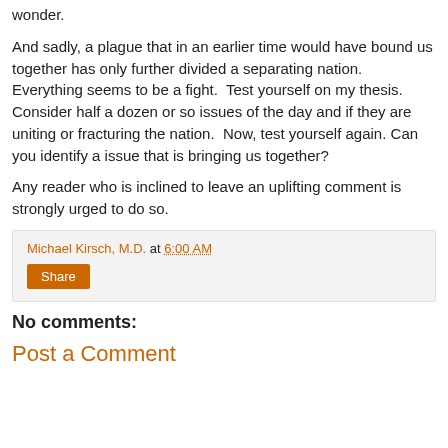wonder.
And sadly, a plague that in an earlier time would have bound us together has only further divided a separating nation. Everything seems to be a fight.  Test yourself on my thesis. Consider half a dozen or so issues of the day and if they are uniting or fracturing the nation.  Now, test yourself again. Can you identify a issue that is bringing us together?
Any reader who is inclined to leave an uplifting comment is strongly urged to do so.
Michael Kirsch, M.D. at 6:00 AM
Share
No comments:
Post a Comment